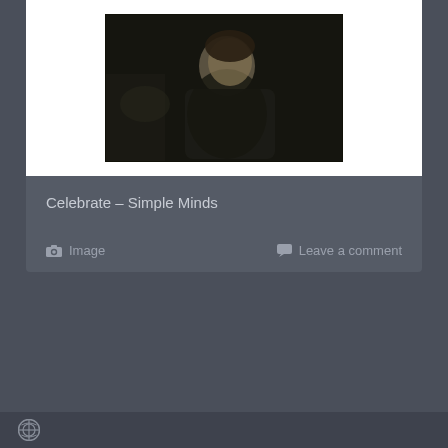[Figure (photo): Video thumbnail showing a person in dark clothing, appears to be a music video still, dark/grainy quality]
Celebrate – Simple Minds
Image   Leave a comment
WordPress logo